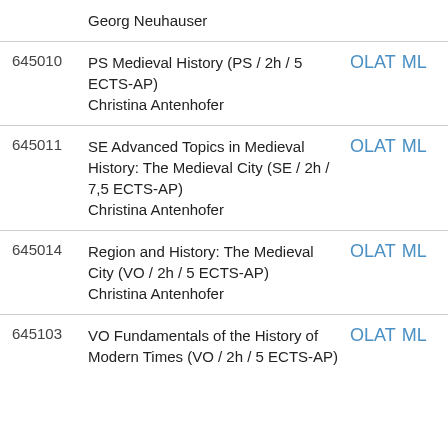| ID | Course | Links |
| --- | --- | --- |
|  | Georg Neuhauser |  |
| 645010 | PS Medieval History (PS / 2h / 5 ECTS-AP)
Christina Antenhofer | OLAT ML |
| 645011 | SE Advanced Topics in Medieval History: The Medieval City (SE / 2h / 7,5 ECTS-AP)
Christina Antenhofer | OLAT ML |
| 645014 | Region and History: The Medieval City (VO / 2h / 5 ECTS-AP)
Christina Antenhofer | OLAT ML |
| 645103 | VO Fundamentals of the History of Modern Times (VO / 2h / 5 ECTS-AP) | OLAT ML |